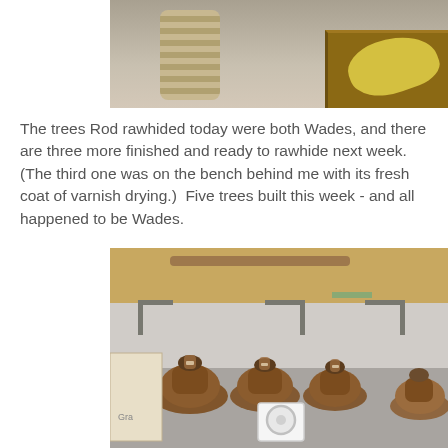[Figure (photo): Partial view of a workshop with a corrugated hose and a wooden box with yellow material on top]
The trees Rod rawhided today were both Wades, and there are three more finished and ready to rawhide next week.  (The third one was on the bench behind me with its fresh coat of varnish drying.)  Five trees built this week - and all happened to be Wades.
[Figure (photo): Workshop floor with multiple wooden saddle trees laid out, a wooden shelf above, a white fan, and a cardboard box on the left]